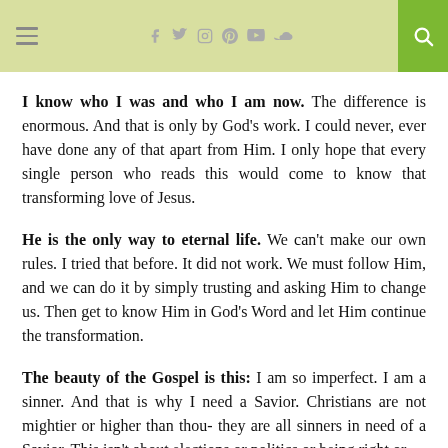Navigation bar with hamburger menu, social icons (Facebook, Twitter, Instagram, Pinterest, YouTube, SoundCloud), and search button
I know who I was and who I am now. The difference is enormous. And that is only by God's work. I could never, ever have done any of that apart from Him. I only hope that every single person who reads this would come to know that transforming love of Jesus.
He is the only way to eternal life. We can't make our own rules. I tried that before. It did not work. We must follow Him, and we can do it by simply trusting and asking Him to change us. Then get to know Him in God's Word and let Him continue the transformation.
The beauty of the Gospel is this: I am so imperfect. I am a sinner. And that is why I need a Savior. Christians are not mightier or higher than thou- they are all sinners in need of a Savior. This isn't about elections or politics or being right or wrong. This is about so much more. For everyone. And that is why...